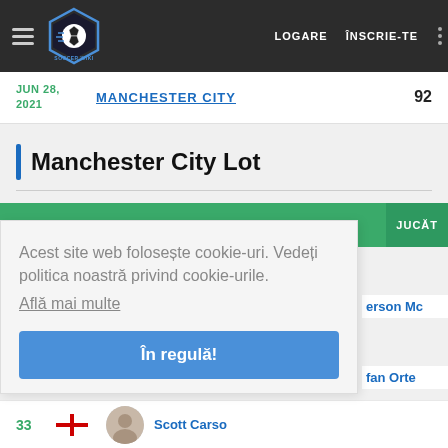LOGARE ÎNSCRIE-TE
| Date | Team | Score |
| --- | --- | --- |
| JUN 28, 2021 | MANCHESTER CITY | 92 |
Manchester City Lot
JUCĂT
Acest site web folosește cookie-uri. Vedeți politica noastră privind cookie-urile.
Află mai multe
În regulă!
erson Mc
fan Orte
| Number | Flag | Photo | Name |
| --- | --- | --- | --- |
| 33 | 🏴󠁧󠁢󠁥󠁮󠁧󠁿 |  | Scott Carso |